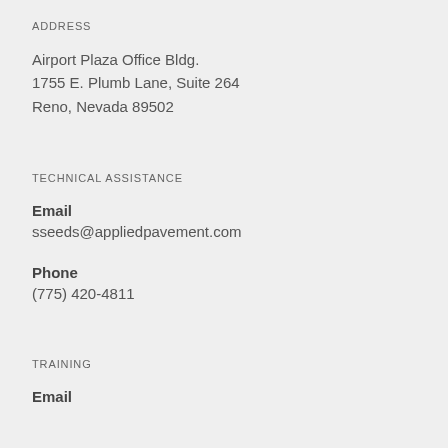ADDRESS
Airport Plaza Office Bldg.
1755 E. Plumb Lane, Suite 264
Reno, Nevada 89502
TECHNICAL ASSISTANCE
Email
sseeds@appliedpavement.com
Phone
(775) 420-4811
TRAINING
Email